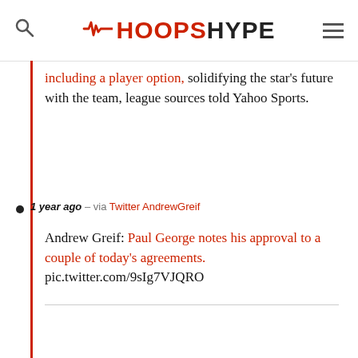HoopsHype
including a player option, solidifying the star's future with the team, league sources told Yahoo Sports.
1 year ago – via Twitter AndrewGreif
Andrew Greif: Paul George notes his approval to a couple of today's agreements. pic.twitter.com/9sIg7VJQRO